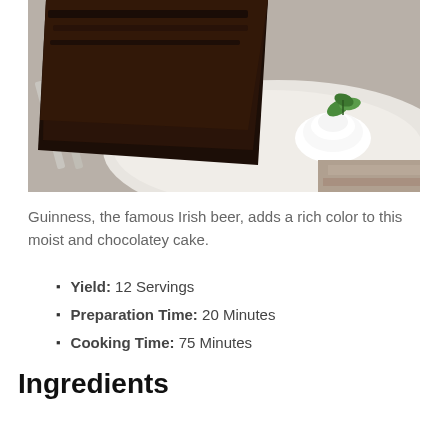[Figure (photo): A slice of dark chocolate Guinness cake on a white plate with whipped cream and a mint leaf garnish, fork visible on the left, wooden surface in background]
Guinness, the famous Irish beer, adds a rich color to this moist and chocolatey cake.
Yield: 12 Servings
Preparation Time: 20 Minutes
Cooking Time: 75 Minutes
Ingredients